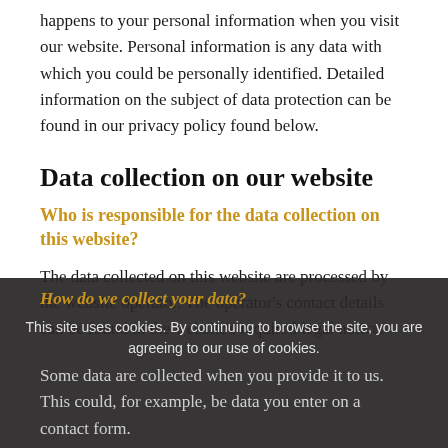happens to your personal information when you visit our website. Personal information is any data with which you could be personally identified. Detailed information on the subject of data protection can be found in our privacy policy found below.
Data collection on our website
Who is responsible for the data collection on this website?
The data collected on this website are processed by the website operator. The operator's contact details can be found in the website's required legal notice.
How do we collect your data?
This site uses cookies. By continuing to browse the site, you are agreeing to our use of cookies.
Some data are collected when you provide it to us. This could, for example, be data you enter on a contact form.